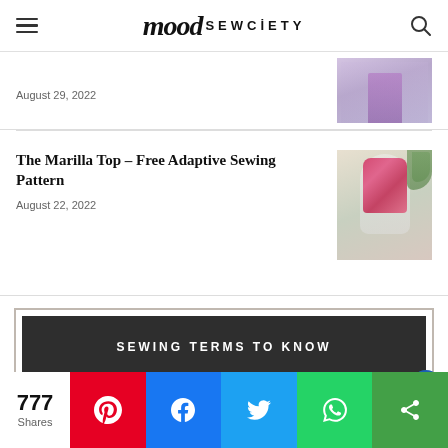mood SEWCIETY
August 29, 2022
[Figure (photo): Purple mini skirt on a mannequin or model]
The Marilla Top – Free Adaptive Sewing Pattern
August 22, 2022
[Figure (photo): Pink floral top on a dress form with greenery in background]
SEWING TERMS TO KNOW
[Figure (photo): Sewing terms reference image, light pink background]
777 Shares